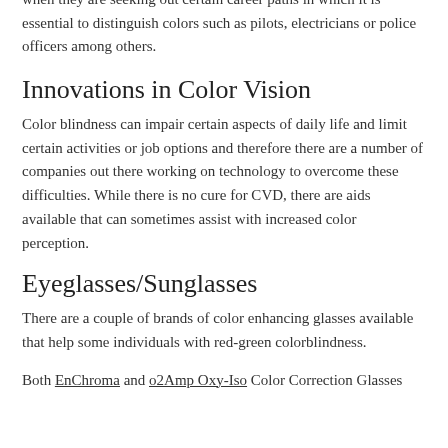when they are seeking out certain career paths in which it is essential to distinguish colors such as pilots, electricians or police officers among others.
Innovations in Color Vision
Color blindness can impair certain aspects of daily life and limit certain activities or job options and therefore there are a number of companies out there working on technology to overcome these difficulties. While there is no cure for CVD, there are aids available that can sometimes assist with increased color perception.
Eyeglasses/Sunglasses
There are a couple of brands of color enhancing glasses available that help some individuals with red-green colorblindness.
Both EnChroma and o2Amp Oxy-Iso Color Correction Glasses